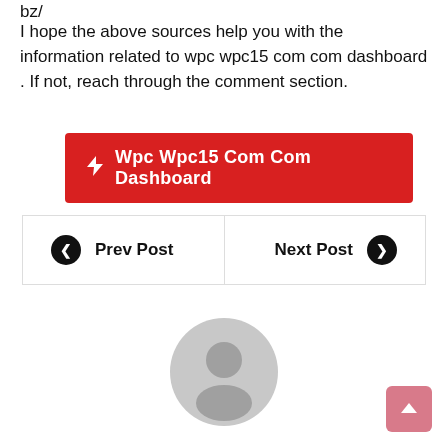bz/
I hope the above sources help you with the information related to wpc wpc15 com com dashboard . If not, reach through the comment section.
⚡ Wpc Wpc15 Com Com Dashboard
❮ Prev Post   Next Post ❯
[Figure (illustration): Default user avatar placeholder — a circular grey icon showing a silhouette of a person]